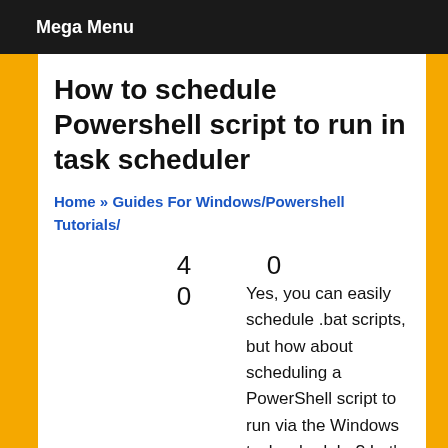Mega Menu
How to schedule Powershell script to run in task scheduler
Home » Guides For Windows / Powershell Tutorials /
4   0
0   Yes, you can easily schedule .bat scripts, but how about scheduling a PowerShell script to run via the Windows task scheduler? Let's do that quickly.